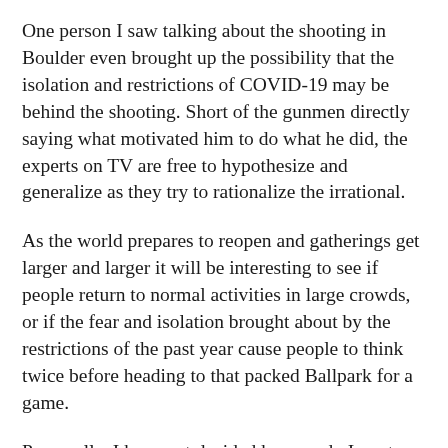One person I saw talking about the shooting in Boulder even brought up the possibility that the isolation and restrictions of COVID-19 may be behind the shooting. Short of the gunmen directly saying what motivated him to do what he did, the experts on TV are free to hypothesize and generalize as they try to rationalize the irrational.
As the world prepares to reopen and gatherings get larger and larger it will be interesting to see if people return to normal activities in large crowds, or if the fear and isolation brought about by the restrictions of the past year cause people to think twice before heading to that packed Ballpark for a game.
Personally, I have not decided how ready I am to cram shoulder to shoulder with thousands of people inside a Ballpark once attendance restrictions are lifted. Of course, I was already tired of being crammed in like a sardine in a can before COVID-19 closed things down. Life in the press box definitely ails me...